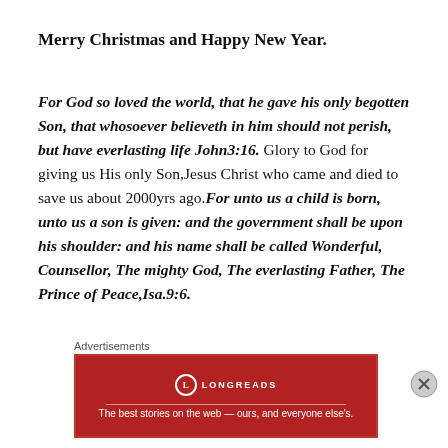Merry Christmas and Happy New Year.
For God so loved the world, that he gave his only begotten Son, that whosoever believeth in him should not perish, but have everlasting life John3:16. Glory to God for giving us His only Son,Jesus Christ who came and died to save us about 2000yrs ago.For unto us a child is born, unto us a son is given: and the government shall be upon his shoulder: and his name shall be called Wonderful, Counsellor, The mighty God, The everlasting Father, The Prince of Peace,Isa.9:6.
Advertisements
[Figure (other): Longreads advertisement banner: red background with Longreads logo and tagline 'The best stories on the web — ours, and everyone else's.']